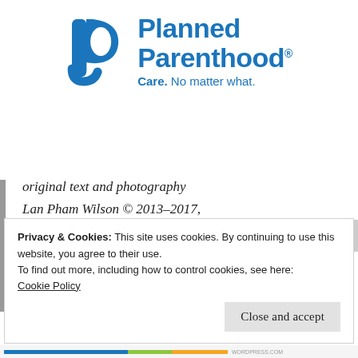[Figure (logo): Planned Parenthood logo with blue icon and text 'Planned Parenthood® Care. No matter what.']
original text and photography Lan Pham Wilson © 2013–2017, unless otherwise stated.
Privacy & Cookies: This site uses cookies. By continuing to use this website, you agree to their use.
To find out more, including how to control cookies, see here:
Cookie Policy
Close and accept